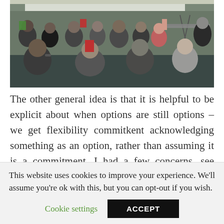[Figure (photo): Audience in a classroom or conference room with people raising their hands or cards, viewed from behind. A presentation screen is visible at the front. People are seated in rows.]
The other general idea is that it is helpful to be explicit about when options are still options – we get flexibility commitkent acknowledging something as an option, rather than assuming it is a commitment. I had a few concerns, see below, so in the end I settled for four stars. Still I feel
This website uses cookies to improve your experience. We'll assume you're ok with this, but you can opt-out if you wish.
Cookie settings
ACCEPT